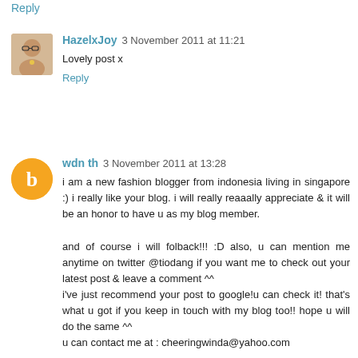Reply
HazelxJoy 3 November 2011 at 11:21
Lovely post x
Reply
wdn th 3 November 2011 at 13:28
i am a new fashion blogger from indonesia living in singapore :) i really like your blog. i will really reaaally appreciate & it will be an honor to have u as my blog member.

and of course i will folback!!! :D also, u can mention me anytime on twitter @tiodang if you want me to check out your latest post & leave a comment ^^
i've just recommend your post to google!u can check it! that's what u got if you keep in touch with my blog too!! hope u will do the same ^^
u can contact me at : cheeringwinda@yahoo.com